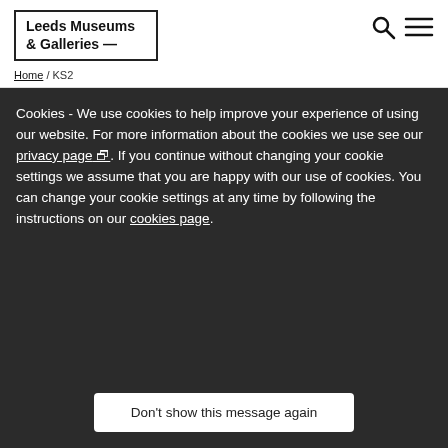Leeds Museums & Galleries
Home / KS2
Cookies - We use cookies to help improve your experience of using our website. For more information about the cookies we use see our privacy page. If you continue without changing your cookie settings we assume that you are happy with our use of cookies. You can change your cookie settings at any time by following the instructions on our cookies page.
Don't show this message again